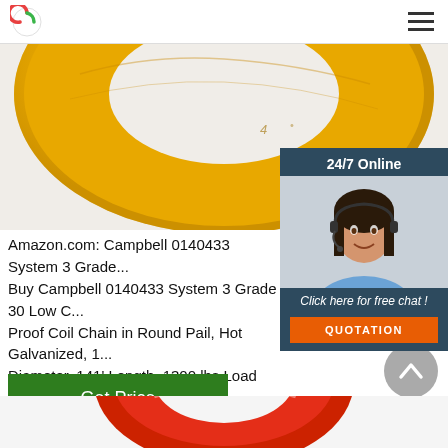[Figure (photo): Yellow coil chain ring viewed from above, hot galvanized finish, large round pail shape]
[Figure (photo): 24/7 Online chat popup with woman wearing headset smiling, dark blue/teal background, with 'Click here for free chat!' text and orange QUOTATION button]
Amazon.com: Campbell 0140433 System 3 Grade... Buy Campbell 0140433 System 3 Grade 30 Low C... Proof Coil Chain in Round Pail, Hot Galvanized, 1... Diameter, 141' Length, 1300 lbs Load Capacity: C... Amazon.com FREE DELIVERY possible on eligible...
[Figure (other): Get Price button — green rectangle with white text]
[Figure (other): Gray circular scroll-to-top arrow button]
[Figure (photo): Bottom partial view of a red and white coil chain]